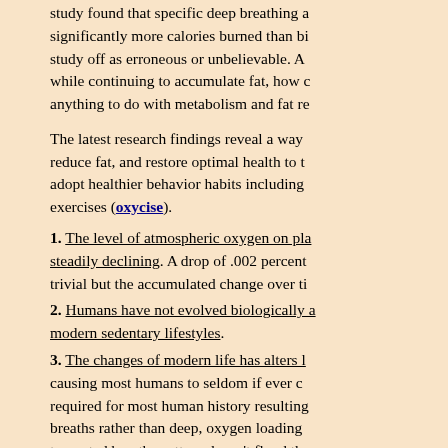study found that specific deep breathing a significantly more calories burned than bi study off as erroneous or unbelievable. A while continuing to accumulate fat, how c anything to do with metabolism and fat re
The latest research findings reveal a way reduce fat, and restore optimal health to t adopt healthier behavior habits including exercises (oxycise).
1. The level of atmospheric oxygen on pla steadily declining. A drop of .002 percent trivial but the accumulated change over ti
2. Humans have not evolved biologically a modern sedentary lifestyles.
3. The changes of modern life has alters l causing most humans to seldom if ever ch required for most human history resulting breaths rather than deep, oxygen loading truncated breaths pattern doesn't flood th (oxygen loading) – a requirement for met supercharging the fat burning/weight loss
This modern oxygen deficient lifestyle tre caloric and improper (saturated fat) intake increasingly obese and ill health epidemic humans.
The good news
Researchers have discovered that oxyge